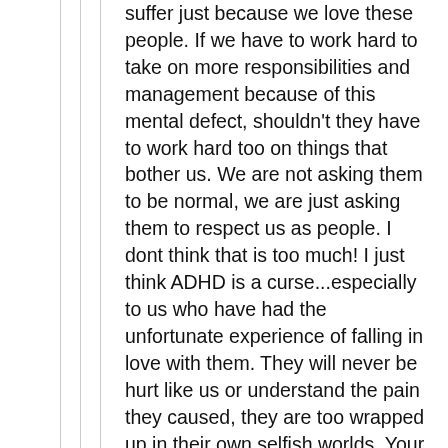suffer just because we love these people. If we have to work hard to take on more responsibilities and management because of this mental defect, shouldn't they have to work hard too on things that bother us. We are not asking them to be normal, we are just asking them to respect us as people. I dont think that is too much! I just think ADHD is a curse...especially to us who have had the unfortunate experience of falling in love with them. They will never be hurt like us or understand the pain they caused, they are too wrapped up in their own selfish worlds. Your in pain and they move on easily and forget. I dont know about you but I